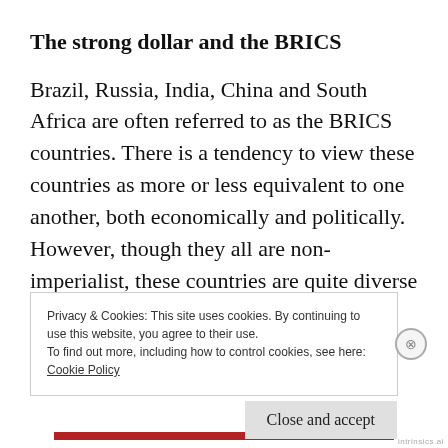The strong dollar and the BRICS
Brazil, Russia, India, China and South Africa are often referred to as the BRICS countries. There is a tendency to view these countries as more or less equivalent to one another, both economically and politically. However, though they all are non-imperialist, these countries are quite diverse and are impacted quite differently by plunging oil prices.
Privacy & Cookies: This site uses cookies. By continuing to use this website, you agree to their use.
To find out more, including how to control cookies, see here: Cookie Policy
Close and accept